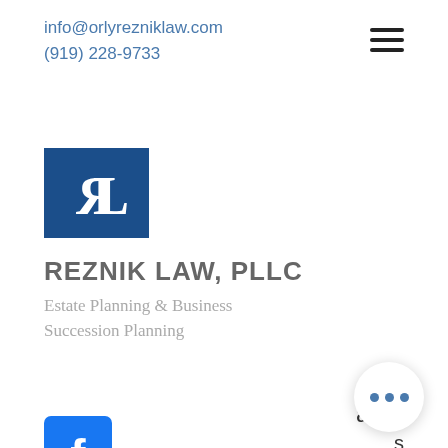info@orlyrezniklaw.com
(919) 228-9733
[Figure (logo): Reznik Law PLLC logo — dark blue square with reversed R and L letters in white serif font]
REZNIK LAW, PLLC
Estate Planning & Business Succession Planning
'2
ager
[Figure (logo): Facebook logo icon — blue square with white letter f]
s
bookmakers now accepting several forms of cryptocurrency betting, i n this article w explain what cryptocurrency is, how it c and what the very best Bitcoin betting sites